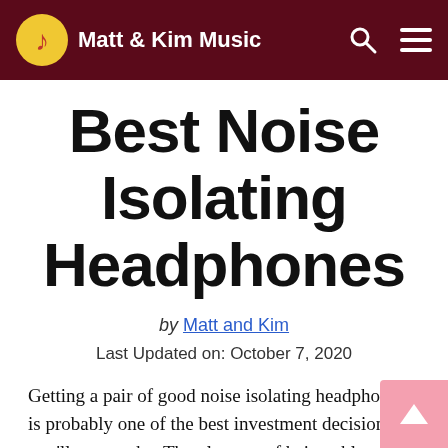Matt & Kim Music
Best Noise Isolating Headphones
by Matt and Kim
Last Updated on: October 7, 2020
Getting a pair of good noise isolating headphones is probably one of the best investment decisions you'll ever make. The pleasure of being able to enjoy nice audio at